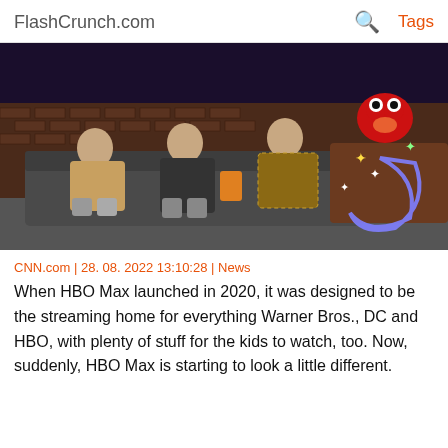FlashCrunch.com    🔍    Tags
[Figure (photo): Three men sitting on a couch on a TV talk show set with brick walls and a glowing neon moon decoration; Elmo puppet visible behind a desk on the right side.]
CNN.com | 28. 08. 2022 13:10:28 | News
When HBO Max launched in 2020, it was designed to be the streaming home for everything Warner Bros., DC and HBO, with plenty of stuff for the kids to watch, too. Now, suddenly, HBO Max is starting to look a little different.